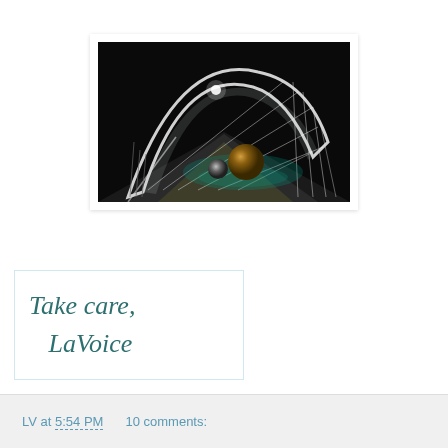[Figure (photo): Night photograph of a modern illuminated bridge structure with cable stays forming a large arch, metallic spherical sculptures on the walkway, teal/green lighting underneath, dark sky background.]
Take care,
LaVoice
LV at 5:54 PM    10 comments: